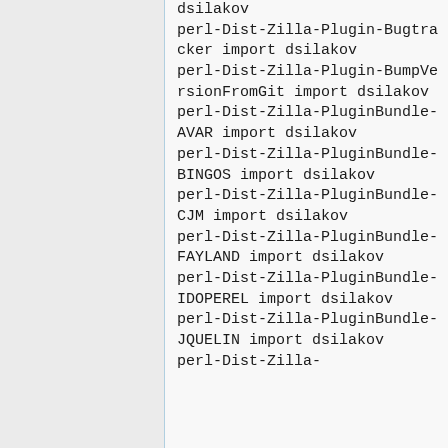dsilakov
perl-Dist-Zilla-Plugin-Bugtracker import dsilakov
perl-Dist-Zilla-Plugin-BumpVersionFromGit import dsilakov
perl-Dist-Zilla-PluginBundle-AVAR import dsilakov
perl-Dist-Zilla-PluginBundle-BINGOS import dsilakov
perl-Dist-Zilla-PluginBundle-CJM import dsilakov
perl-Dist-Zilla-PluginBundle-FAYLAND import dsilakov
perl-Dist-Zilla-PluginBundle-IDOPEREL import dsilakov
perl-Dist-Zilla-PluginBundle-JQUELIN import dsilakov
perl-Dist-Zilla-